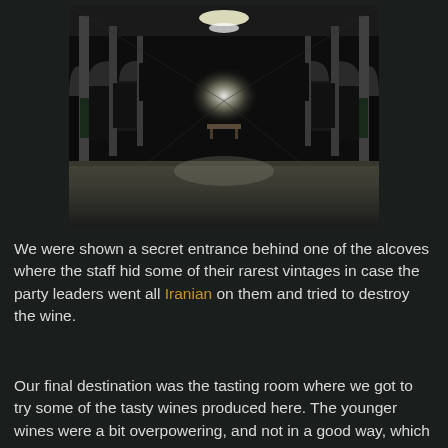[Figure (photo): Interior of a wine cellar with long corridor, arched alcoves filled with wine bottles on both sides, lit by overhead lights receding into the distance, with a small table visible at the far end.]
We were shown a secret entrance behind one of the alcoves where the staff hid some of their rarest vintages in case the party leaders went all Iranian on them and tried to destroy the wine.
Our final destination was the tasting room where we got to try some of the tasty wines produced here. The younger wines were a bit overpowering, and not in a good way, which